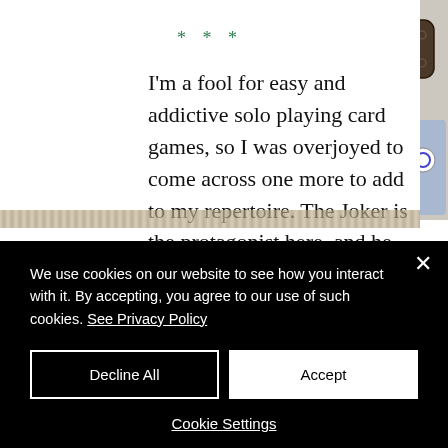* * *
I'm a fool for easy and addictive solo playing card games, so I was overjoyed to come across one more to add to my repertoire. The Joker is the protagonist here, and he is imprisoned in a cell of cards. Your goal is to demolish at least one of the walls and let the silly guy out.
[Figure (photo): Right side panel showing decorative dice and playing card game pieces on a light background]
We use cookies on our website to see how you interact with it. By accepting, you agree to our use of such cookies. See Privacy Policy
Decline All
Accept
Cookie Settings